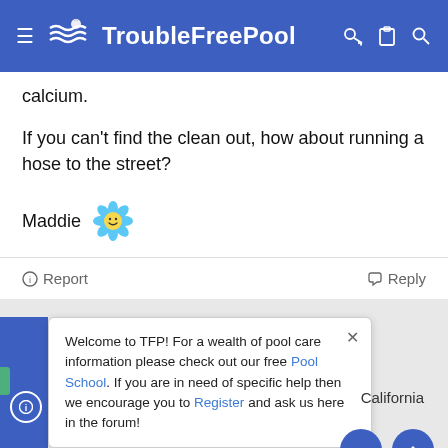TroubleFreePool
calcium.
If you can't find the clean out, how about running a hose to the street?
Maddie
⊙ Report   ↩ Reply
Welcome to TFP! For a wealth of pool care information please check out our free Pool School. If you are in need of specific help then we encourage you to Register and ask us here in the forum!
California
Chlorine   Liquid Chlorine